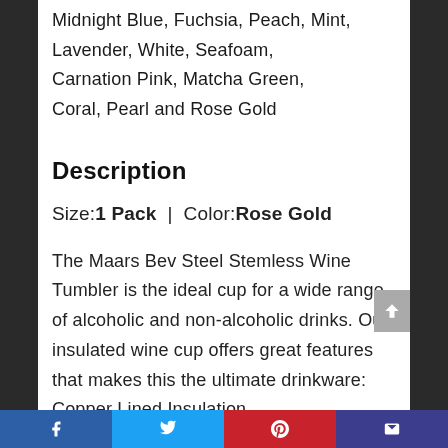Midnight Blue, Fuchsia, Peach, Mint, Lavender, White, Seafoam, Carnation Pink, Matcha Green, Coral, Pearl and Rose Gold
Description
Size: 1 Pack  |  Color: Rose Gold
The Maars Bev Steel Stemless Wine Tumbler is the ideal cup for a wide range of alcoholic and non-alcoholic drinks. Our insulated wine cup offers great features that makes this the ultimate drinkware: Copper Lined Insulation